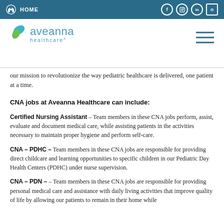HOME
[Figure (logo): Aveanna Healthcare logo with teal leaf icon and teal text]
our mission to revolutionize the way pediatric healthcare is delivered, one patient at a time.
CNA jobs at Aveanna Healthcare can include:
Certified Nursing Assistant – Team members in these CNA jobs perform, assist, evaluate and document medical care, while assisting patients in the activities necessary to maintain proper hygiene and perform self-care.
CNA – PDHC – Team members in these CNA jobs are responsible for providing direct childcare and learning opportunities to specific children in our Pediatric Day Health Centers (PDHC) under nurse supervision.
CNA – PDN – – Team members in these CNA jobs are responsible for providing personal medical care and assistance with daily living activities that improve quality of life by allowing our patients to remain in their home while